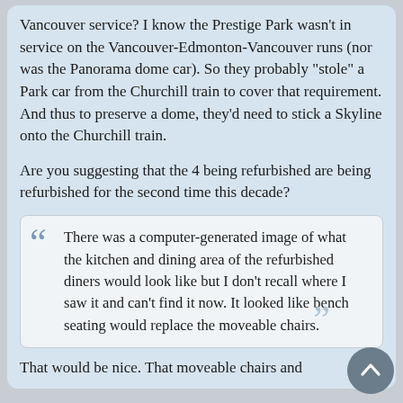Vancouver service? I know the Prestige Park wasn't in service on the Vancouver-Edmonton-Vancouver runs (nor was the Panorama dome car). So they probably "stole" a Park car from the Churchill train to cover that requirement. And thus to preserve a dome, they'd need to stick a Skyline onto the Churchill train.
Are you suggesting that the 4 being refurbished are being refurbished for the second time this decade?
There was a computer-generated image of what the kitchen and dining area of the refurbished diners would look like but I don't recall where I saw it and can't find it now. It looked like bench seating would replace the moveable chairs.
That would be nice. That moveable chairs and